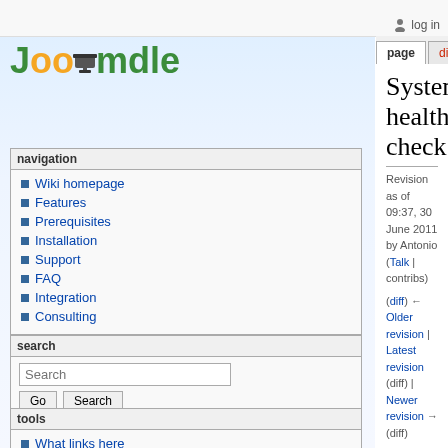[Figure (logo): Joomdle logo with graduation cap]
navigation
Wiki homepage
Features
Prerequisites
Installation
Support
FAQ
Integration
Consulting
search
tools
What links here
System health check
Revision as of 09:37, 30 June 2011 by Antonio (Talk | contribs)
(diff) ← Older revision | Latest revision (diff) | Newer revision → (diff)
English
| Contents |
| --- |
| 1 System Health Check |
| 1.1 XMLRPC PHP Extension |
| 1.1.1 You need to install/enable the XMLRPC extension in your PHP configuration |
| 1.2 Allow URL fopen |
| 1.2.1 You need to set PHP option allow_url_fopen to On, on your PHP configuration |
| 1.3 Joomla Web Services |
| 1.3.1 You must enable Web Services in Joomla Global Configuration |